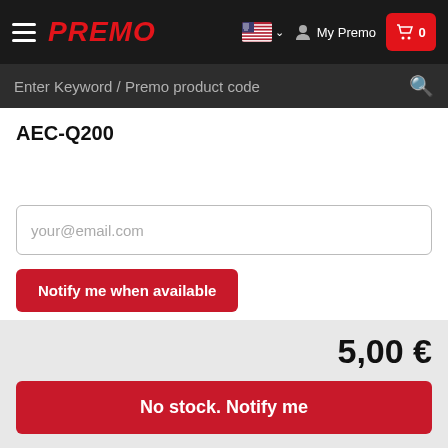PREMO — My Premo — Cart 0
Enter Keyword / Premo product code
AEC-Q200
your@email.com
Notify me when available
5,00 €
No stock. Notify me